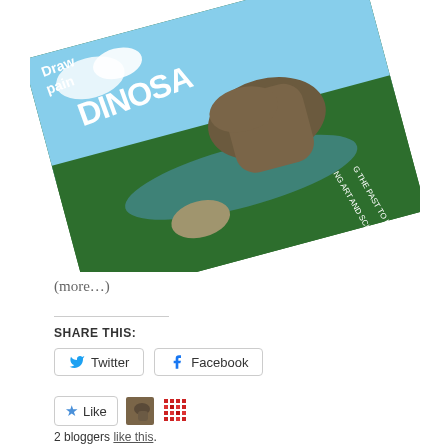[Figure (photo): Book cover for 'Drawing and Painting Dinosaurs' by Emily Willoughby, showing a T-Rex attacking prey with text 'Using Art and Science: Bringing the Past to Life', rotated at an angle]
(more...)
SHARE THIS:
Twitter  Facebook
Like  2 bloggers like this.
Posted in palaeontology and tagged aerodynamics, anatomy, animal behaviour, ankylosaurs, Archaeopteryx,